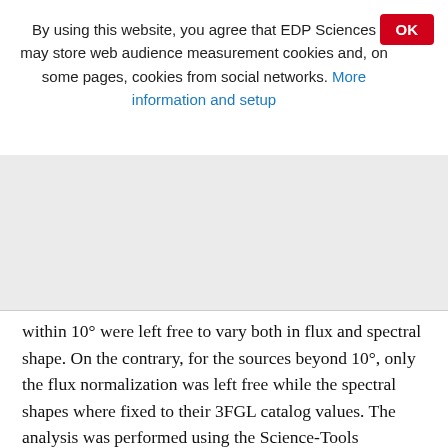By using this website, you agree that EDP Sciences may store web audience measurement cookies and, on some pages, cookies from social networks. More information and setup
OK
within 10° were left free to vary both in flux and spectral shape. On the contrary, for the sources beyond 10°, only the flux normalization was left free while the spectral shapes where fixed to their 3FGL catalog values. The analysis was performed using the Science-Tools